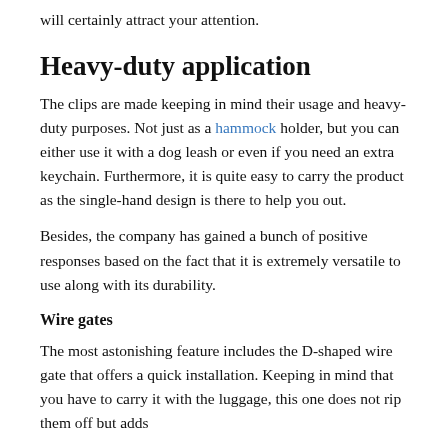will certainly attract your attention.
Heavy-duty application
The clips are made keeping in mind their usage and heavy-duty purposes. Not just as a hammock holder, but you can either use it with a dog leash or even if you need an extra keychain. Furthermore, it is quite easy to carry the product as the single-hand design is there to help you out.
Besides, the company has gained a bunch of positive responses based on the fact that it is extremely versatile to use along with its durability.
Wire gates
The most astonishing feature includes the D-shaped wire gate that offers a quick installation. Keeping in mind that you have to carry it with the luggage, this one does not rip them off but adds